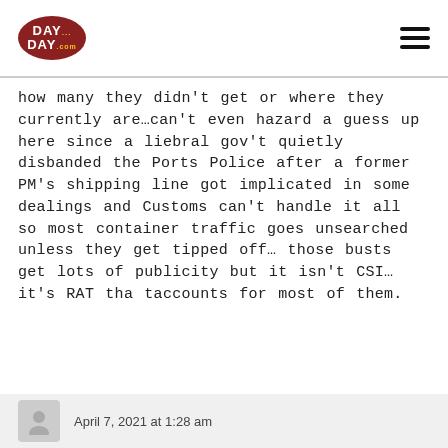DAY DAY .com
how many they didn't get or where they currently are…can't even hazard a guess up here since a liebral gov't quietly disbanded the Ports Police after a former PM's shipping line got implicated in some dealings and Customs can't handle it all so most container traffic goes unsearched unless they get tipped off… those busts get lots of publicity but it isn't CSI…it's RAT tha taccounts for most of them.
April 7, 2021 at 1:28 am